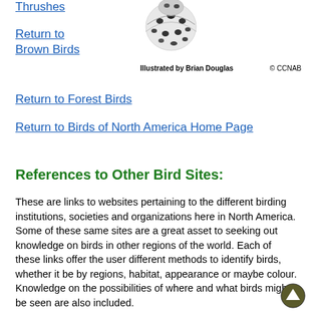Thrushes
[Figure (illustration): Partial illustration of a spotted bird (thrush), black and white, showing spotted breast and wing detail]
Return to Brown Birds
Illustrated by Brian Douglas   © CCNAB
Return to Forest Birds
Return to Birds of North America Home Page
References to Other Bird Sites:
These are links to websites pertaining to the different birding institutions, societies and organizations here in North America. Some of these same sites are a great asset to seeking out knowledge on birds in other regions of the world. Each of these links offer the user different methods to identify birds, whether it be by regions, habitat, appearance or maybe colour. Knowledge on the possibilities of where and what birds might be seen are also included.